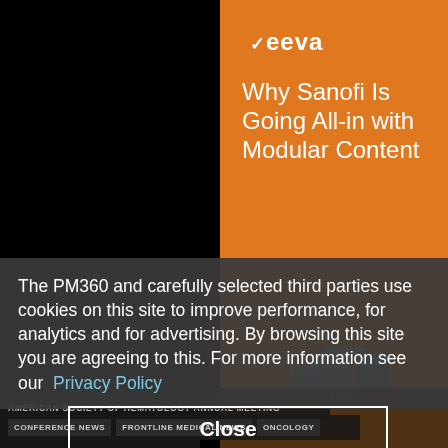[Figure (illustration): Veeva advertisement banner with orange background showing 'Why Sanofi Is Going All-in with Modular Content' headline with a 3D modular content graphic illustration at the bottom]
The PM360 and carefully selected third parties use cookies on this site to improve performance, for analytics and for advertising. By browsing this site you are agreeing to this. For more information see our  Privacy Policy
Close
AMERICAN SOCIETY OF HEMATOLOGY ANNUAL MEETING
CONFERENCE NEWS   FRONTLINE MEDICAL NEWS   ONCOLOGY
TOP NEWS STORIES